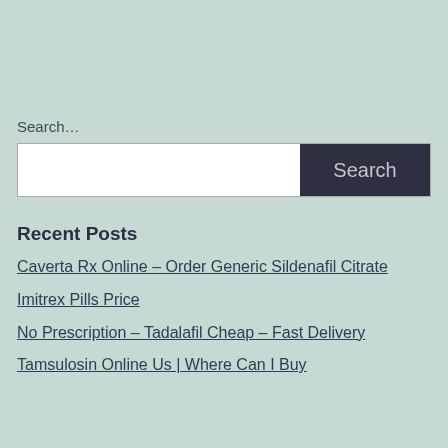Search…
[Figure (screenshot): Search input bar with white text field and dark 'Search' button]
Recent Posts
Caverta Rx Online – Order Generic Sildenafil Citrate
Imitrex Pills Price
No Prescription – Tadalafil Cheap – Fast Delivery
Tamsulosin Online Us | Where Can I Buy